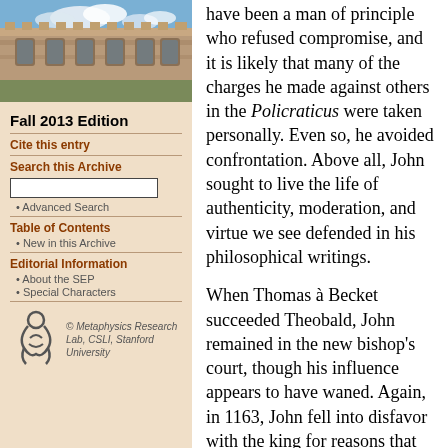[Figure (photo): Aerial or ground-level photo of a university building (stone Gothic architecture) with blue sky and clouds]
Fall 2013 Edition
Cite this entry
Search this Archive
Advanced Search
Table of Contents
New in this Archive
Editorial Information
About the SEP
Special Characters
[Figure (logo): Metaphysics Research Lab logo with stylized figure]
© Metaphysics Research Lab, CSLI, Stanford University
have been a man of principle who refused compromise, and it is likely that many of the charges he made against others in the Policraticus were taken personally. Even so, he avoided confrontation. Above all, John sought to live the life of authenticity, moderation, and virtue we see defended in his philosophical writings.

When Thomas à Becket succeeded Theobald, John remained in the new bishop's court, though his influence appears to have waned. Again, in 1163, John fell into disfavor with the king for reasons that remain obscure, and left for